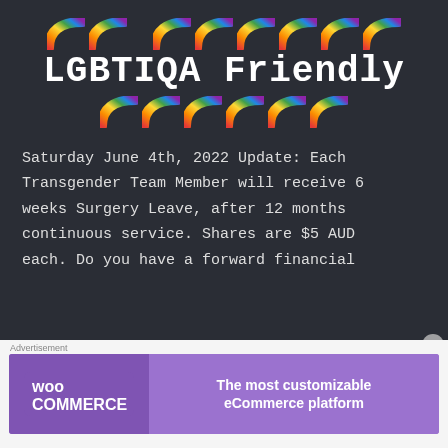[Figure (illustration): Row of rainbow emoji icons across the top of the dark background]
LGBTIQA Friendly
[Figure (illustration): Row of rainbow emoji icons below the title text]
Saturday June 4th, 2022 Update: Each Transgender Team Member will receive 6 weeks Surgery Leave, after 12 months continuous service. Shares are $5 AUD each. Do you have a forward financial
[Figure (screenshot): WooCommerce advertisement banner reading 'The most customizable eCommerce platform']